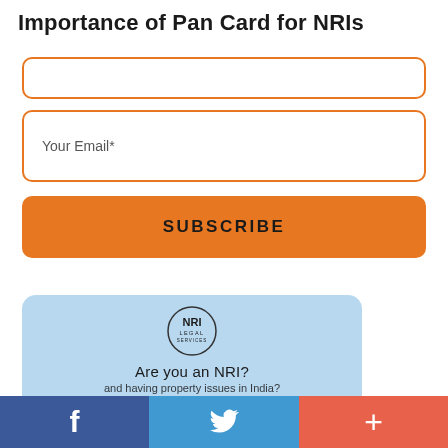Importance of Pan Card for NRIs
[Figure (screenshot): Orange-bordered input field (partially visible at top)]
[Figure (screenshot): Orange-bordered email input field with placeholder text 'Your Email*']
[Figure (screenshot): Orange subscribe button with bold text 'SUBSCRIBE']
[Figure (infographic): Light blue card with NRI Legal Services circular logo, text 'Are you an NRI?' and partially visible subtitle 'and having property issues in India?']
f  [Twitter bird icon]  +